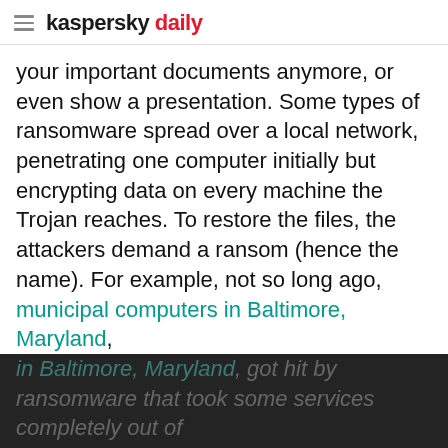kaspersky daily
your important documents anymore, or even show a presentation. Some types of ransomware spread over a local network, penetrating one computer initially but encrypting data on every machine the Trojan reaches. To restore the files, the attackers demand a ransom (hence the name). For example, not so long ago, municipal computers in Baltimore, Maryland, got hit by ransomware that took some services completely out of commission — and the city was eventually asked $100,000 to restore everything.
We use cookies to make your experience of our websites better. By using and further navigating this website you accept this. Detailed information about the use of cookies on this website is available by clicking on more information.
ACCEPT AND CLOSE
Spyware